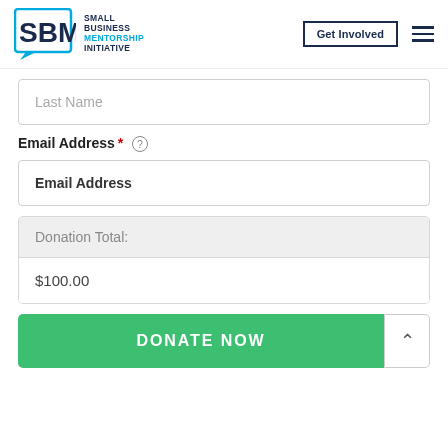[Figure (logo): SBMI - Small Business Mentorship Initiative logo with cyan speech bubble shape and navy SBMI text, followed by company name text and navigation buttons]
Last Name
Email Address * (info icon)
Email Address
Donation Total:
$100.00
DONATE NOW